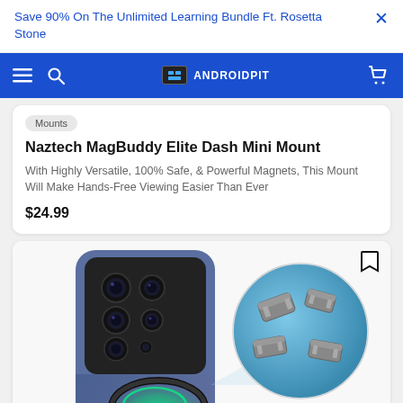Save 90% On The Unlimited Learning Bundle Ft. Rosetta Stone  ×
[Figure (screenshot): AndroidPIT website navigation bar with hamburger menu, search icon, AndroidPIT logo, and shopping cart icon on blue background]
Mounts
Naztech MagBuddy Elite Dash Mini Mount
With Highly Versatile, 100% Safe, & Powerful Magnets, This Mount Will Make Hands-Free Viewing Easier Than Ever
$24.99
[Figure (photo): Product image showing the back of a Samsung smartphone with a magnetic ring mount glowing green, and a zoomed-in circular callout showing magnetic components]